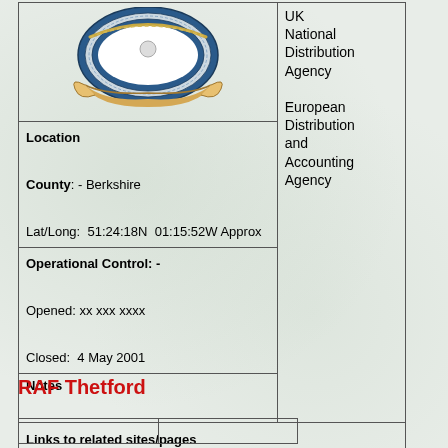[Figure (logo): Circular military/RAF badge with blue ring, decorative gold/tan scroll/ribbon at base, white center interior]
UK National Distribution Agency

European Distribution and Accounting Agency
Location

County: - Berkshire

Lat/Long: 51:24:18N 01:15:52W Approx
Operational Control: -

Opened: xx xxx xxxx

Closed: 4 May 2001
Notes
Links to related sites/pages

Aerial photo on Google Maps,
RAF Thetford